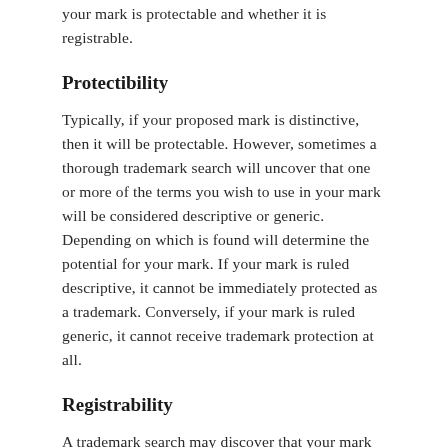your mark is protectable and whether it is registrable.
Protectibility
Typically, if your proposed mark is distinctive, then it will be protectable. However, sometimes a thorough trademark search will uncover that one or more of the terms you wish to use in your mark will be considered descriptive or generic. Depending on which is found will determine the potential for your mark. If your mark is ruled descriptive, it cannot be immediately protected as a trademark. Conversely, if your mark is ruled generic, it cannot receive trademark protection at all.
Registrability
A trademark search may discover that your mark is protectable. This is not the last step in the road though. Even though a mark can be protectable, it may also be doubtful to be registrable. This has to...